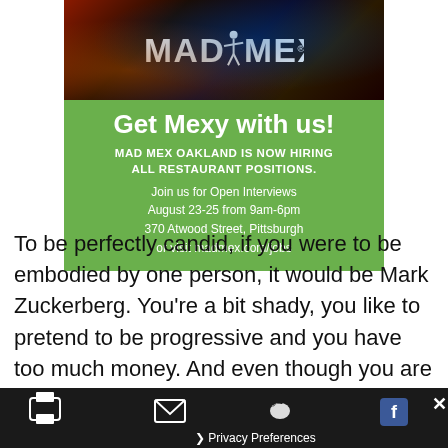[Figure (photo): Mad Mex restaurant advertisement with dark moody photo background showing bar/restaurant ambiance with colored lighting]
Get Mexy with us!
MAD MEX OAKLAND IS NOW HIRING ALL RESTAURANT POSITIONS.
Join us for Open Interviews August 23-25 from 9am-6pm 370 Atwood Street, Pittsburgh or visit madmex.com/jobs
To be perfectly candid, if you were to be embodied by one person, it would be Mark Zuckerberg. You're a bit shady, you like to pretend to be progressive and you have too much money. And even though you are the institutional equivalent to Mark Zuckerberg, I still
[Figure (screenshot): Bottom toolbar with print icon, email icon, Twitter bird icon, Facebook icon, close X button, and Privacy Preferences text]